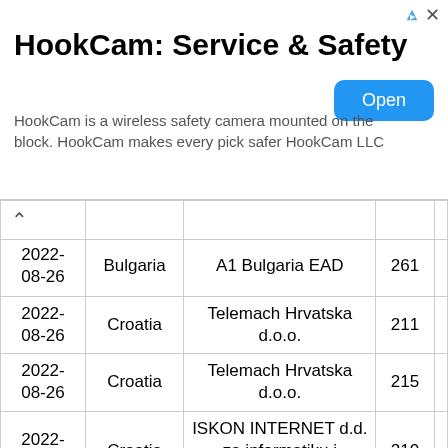[Figure (screenshot): Advertisement banner for HookCam: Service & Safety. Title reads 'HookCam: Service & Safety'. Description: 'HookCam is a wireless safety camera mounted on the block. HookCam makes every pick safer HookCam LLC'. Blue 'Open' button on the right.]
| Date | Country | Organization | AS |  |
| --- | --- | --- | --- | --- |
| 2022-08-26 | Bulgaria | A1 Bulgaria EAD | 261 |  |
| 2022-08-26 | Croatia | Telemach Hrvatska d.o.o. | 211 |  |
| 2022-08-26 | Croatia | Telemach Hrvatska d.o.o. | 215 |  |
| 2022-08-26 | Croatia | ISKON INTERNET d.d. za informatiku i telekomunikacije | 210 |  |
| 2022-08-26 | New Zealand | Intergrid Group Pty Ltd | 534 |  |